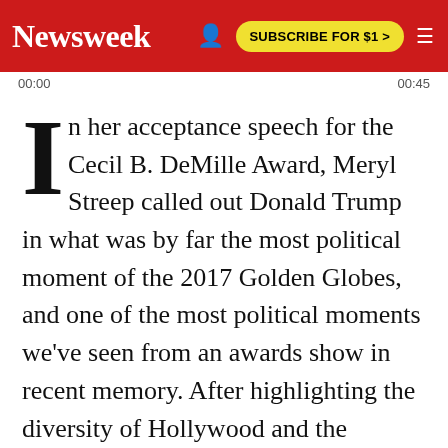Newsweek | SUBSCRIBE FOR $1 >
00:00 00:45
In her acceptance speech for the Cecil B. DeMille Award, Meryl Streep called out Donald Trump in what was by far the most political moment of the 2017 Golden Globes, and one of the most political moments we've seen from an awards show in recent memory. After highlighting the diversity of Hollywood and the "many, many, many" powerful acting performances of 2016, Streep noted that the most stunning performance she's seen recently was not by an actor. It was Donald